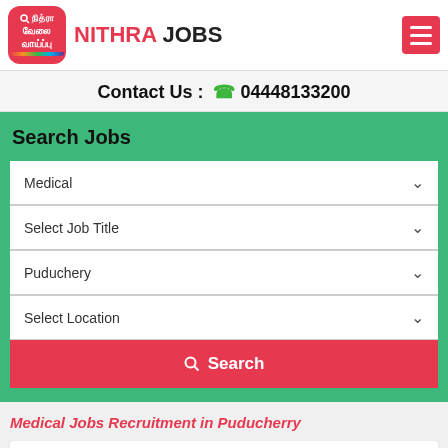NITHRA JOBS
Contact Us : 04448133200
Search Jobs
Medical
Select Job Title
Puduchery
Select Location
Search
Medical Jobs Recruitment in Puducherry
Are you searching for a medical job / Medical field